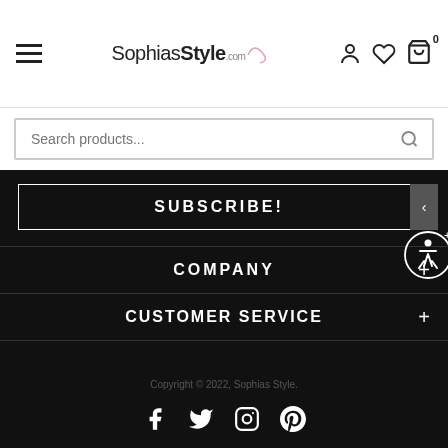[Figure (logo): SophiasStyle.com logo with hamburger menu, user icon, heart icon, and shopping bag icon with 0 count]
Search products...
SUBSCRIBE!
COMPANY
CUSTOMER SERVICE
Copyright © 2022, Sophias Style.
[Figure (illustration): Social media icons: Facebook, Twitter, Instagram, Pinterest]